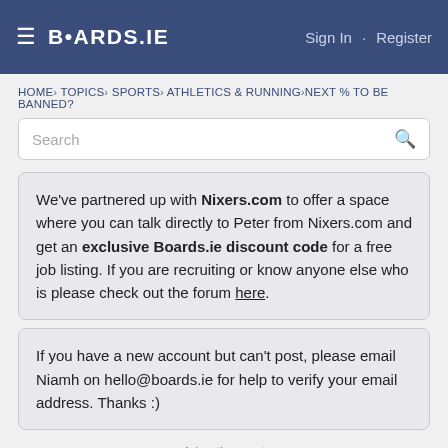BOARDS.IE  Sign In · Register
HOME › TOPICS › SPORTS › ATHLETICS & RUNNING › NEXT % TO BE BANNED?
Search
We've partnered up with Nixers.com to offer a space where you can talk directly to Peter from Nixers.com and get an exclusive Boards.ie discount code for a free job listing. If you are recruiting or know anyone else who is please check out the forum here.
If you have a new account but can't post, please email Niamh on hello@boards.ie for help to verify your email address. Thanks :)
Advertisement